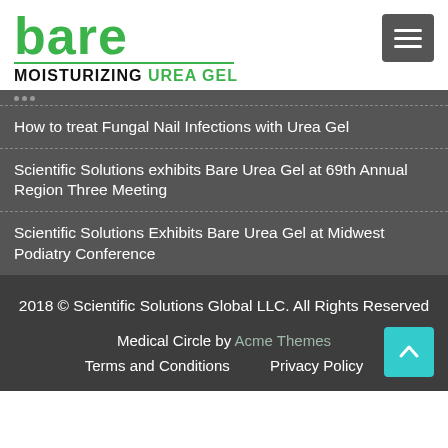[Figure (logo): Bare Moisturizing Urea Gel logo with green 'bare' text and green underline, followed by 'MOISTURIZING UREA GEL' tagline in bold black and green]
How to treat Fungal Nail Infections with Urea Gel
Scientific Solutions exhibits Bare Urea Gel at 69th Annual Region Three Meeting
Scientific Solutions Exhibits Bare Urea Gel at Midwest Podiatry Conference
2018 © Scientific Solutions Global LLC. All Rights Reserved
Medical Circle by Acme Themes
Terms and Conditions   Privacy Policy